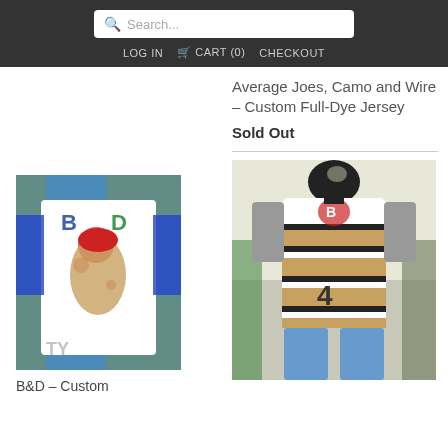[Figure (screenshot): Search bar with magnifying glass icon, white background, rounded rectangle, showing placeholder text 'Search...']
LOG IN   🛒 CART (0)   CHECKOUT
Average Joes, Camo and Wire – Custom Full-Dye Jersey
Sold Out
[Figure (photo): Custom jersey on a mannequin with B&D graphic print, white base with colorful graffiti-style artwork]
[Figure (photo): Custom striped jersey on a mannequin, white and tan horizontal stripes with black borders, number 4 on back]
B&D – Custom